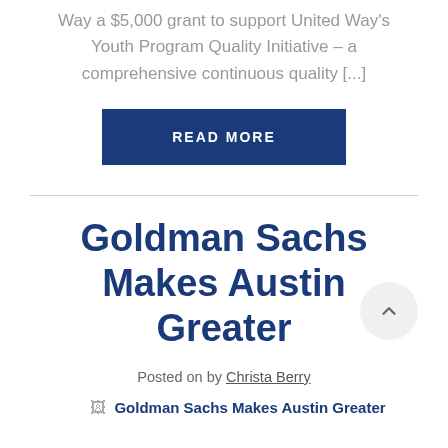Way a $5,000 grant to support United Way's Youth Program Quality Initiative – a comprehensive continuous quality [...]
READ MORE
Goldman Sachs Makes Austin Greater
Posted on by Christa Berry
[Figure (photo): Broken image icon placeholder with text 'Goldman Sachs Makes Austin Greater']